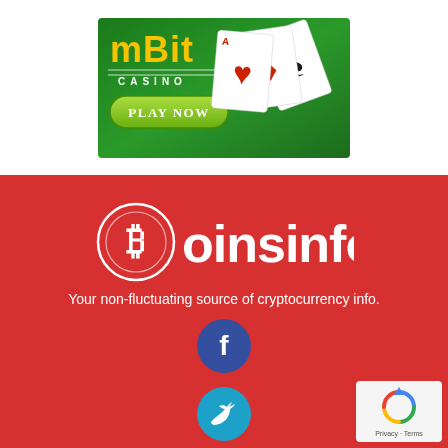[Figure (illustration): mBit Casino advertisement banner with green background, playing cards (Aces), and a 'PLAY NOW' button]
[Figure (logo): Coinsinfo logo - white text on red background with circular coin icon on the left]
Your non-fluctuating source of cryptocurrency info.
[Figure (illustration): Facebook social media icon - dark blue circle with white 'f' letter]
[Figure (illustration): Twitter social media icon - cyan/blue circle with white bird logo]
[Figure (other): Google reCAPTCHA badge with Privacy and Terms text]